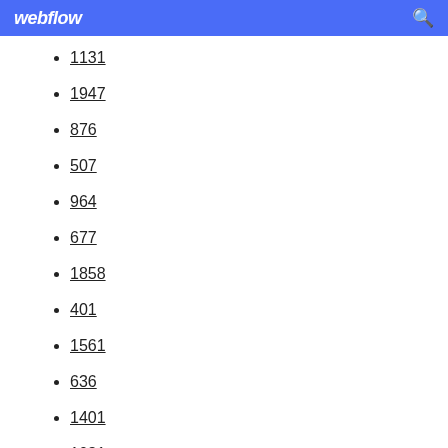webflow
1131
1947
876
507
964
677
1858
401
1561
636
1401
1081
1791